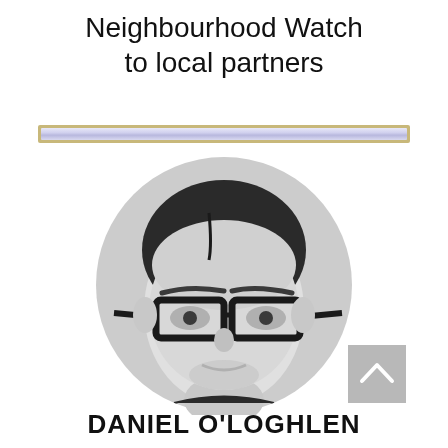Neighbourhood Watch to local partners
[Figure (illustration): Horizontal divider bar with light purple/silver gradient fill and gold/tan border]
[Figure (photo): Black and white circular profile photo of a man wearing glasses, with dark hair and facial stubble, smiling slightly]
[Figure (other): Grey square button with white upward-pointing chevron arrow, used as a scroll-to-top button]
DANIEL O'LOGHLEN